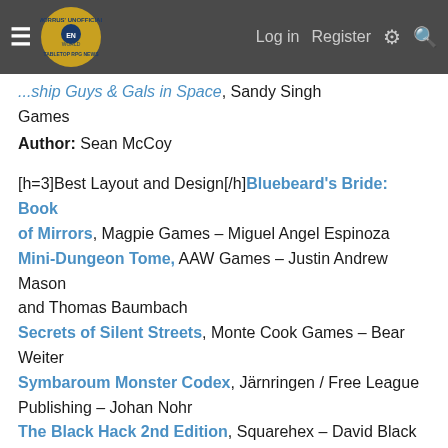Morrus' Unofficial Tabletop RPG News — Log in | Register
...Starship Guys & Gals in Space], Sandy Singh Games
Author: Sean McCoy
[h=3]Best Layout and Design[/h] Bluebeard's Bride: Book of Mirrors, Magpie Games – Miguel Angel Espinoza
Mini-Dungeon Tome, AAW Games – Justin Andrew Mason and Thomas Baumbach
Secrets of Silent Streets, Monte Cook Games – Bear Weiter
Symbaroum Monster Codex, Järnringen / Free League Publishing – Johan Nohr
The Black Hack 2nd Edition, Squarehex – David Black
[h=3]Best Monster/Adversary[/h] Creature Codex for 5th Edition, Kobold Press
Authors: Wolfgang Baur, Dan Dillon, Richard Green, James Haeck, Jeremy Hochhalter, James Introcaso, Jon Sawatsky,